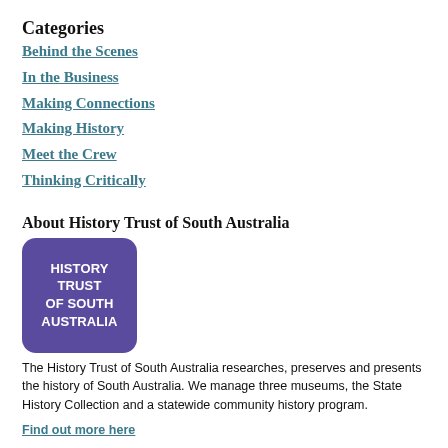Categories
Behind the Scenes
In the Business
Making Connections
Making History
Meet the Crew
Thinking Critically
About History Trust of South Australia
[Figure (logo): History Trust of South Australia logo — purple rounded square with white bold text reading HISTORY TRUST OF SOUTH AUSTRALIA]
The History Trust of South Australia researches, preserves and presents the history of South Australia. We manage three museums, the State History Collection and a statewide community history program.
Find out more here